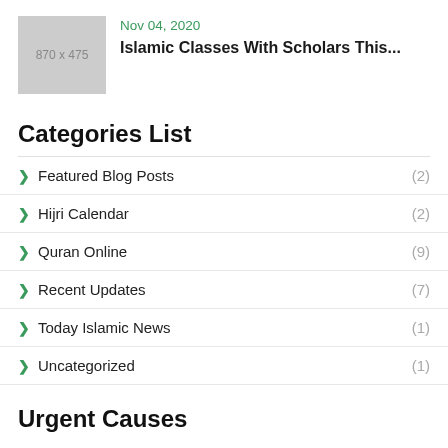[Figure (photo): Placeholder image thumbnail showing '870 x 475' in grey box]
Nov 04, 2020
Islamic Classes With Scholars This...
Categories List
Featured Blog Posts (2)
Hijri Calendar (2)
Quran Online (9)
Recent Updates (7)
Today Islamic News (1)
Uncategorized (1)
Urgent Causes